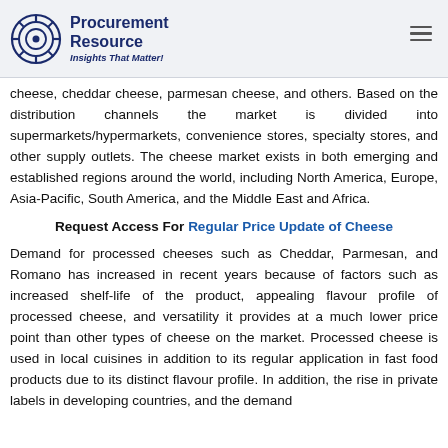Procurement Resource — Insights That Matter!
cheese, cheddar cheese, parmesan cheese, and others. Based on the distribution channels the market is divided into supermarkets/hypermarkets, convenience stores, specialty stores, and other supply outlets. The cheese market exists in both emerging and established regions around the world, including North America, Europe, Asia-Pacific, South America, and the Middle East and Africa.
Request Access For Regular Price Update of Cheese
Demand for processed cheeses such as Cheddar, Parmesan, and Romano has increased in recent years because of factors such as increased shelf-life of the product, appealing flavour profile of processed cheese, and versatility it provides at a much lower price point than other types of cheese on the market. Processed cheese is used in local cuisines in addition to its regular application in fast food products due to its distinct flavour profile. In addition, the rise in private labels in developing countries, and the demand